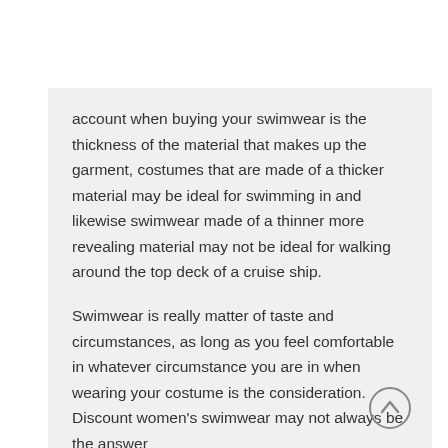account when buying your swimwear is the thickness of the material that makes up the garment, costumes that are made of a thicker material may be ideal for swimming in and likewise swimwear made of a thinner more revealing material may not be ideal for walking around the top deck of a cruise ship.
Swimwear is really matter of taste and circumstances, as long as you feel comfortable in whatever circumstance you are in when wearing your costume is the consideration. Discount women's swimwear may not always be the answer